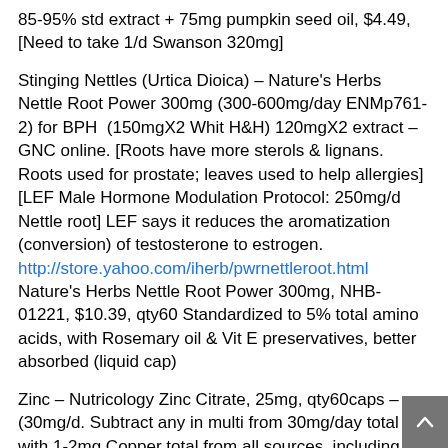85-95% std extract + 75mg pumpkin seed oil, $4.49, [Need to take 1/d Swanson 320mg]
Stinging Nettles (Urtica Dioica) – Nature's Herbs Nettle Root Power 300mg (300-600mg/day ENMp761-2) for BPH (150mgX2 Whit H&H) 120mgX2 extract – GNC online. [Roots have more sterols & lignans. Roots used for prostate; leaves used to help allergies] [LEF Male Hormone Modulation Protocol: 250mg/d Nettle root] LEF says it reduces the aromatization (conversion) of testosterone to estrogen. http://store.yahoo.com/iherb/pwrnettleroot.html Nature's Herbs Nettle Root Power 300mg, NHB-01221, $10.39, qty60 Standardized to 5% total amino acids, with Rosemary oil & Vit E preservatives, better absorbed (liquid cap)
Zinc – Nutricology Zinc Citrate, 25mg, qty60caps – (30mg/d. Subtract any in multi from 30mg/day total with 1-2mg Copper total from all sources, including